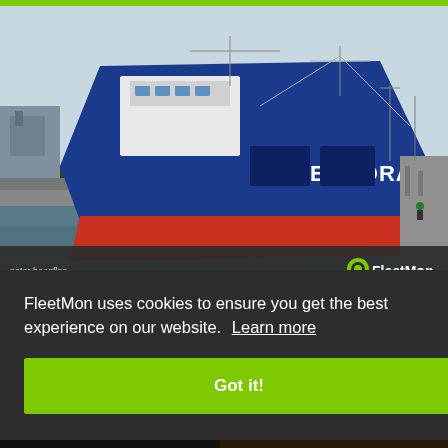[Figure (photo): A large blue and red cargo/general cargo ship named ELEONORA A passing through a lock or harbour channel. The ship has a blue hull above the waterline and red hull below. Various dock infrastructure and people visible on the quayside. FleetMon watermark visible in the bottom right of the image, and photographer credit 'peter hoogfles' bottom left.]
FleetMon uses cookies to ensure you get the best experience on our website. Learn more
Got it!